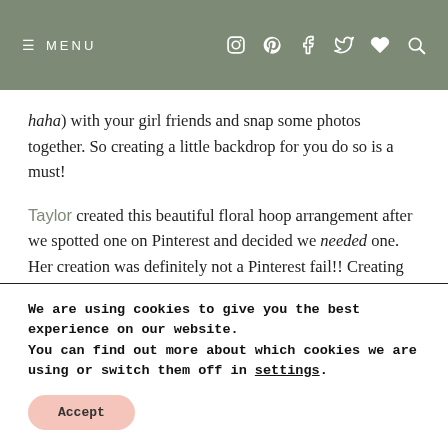≡ MENU  [social icons: instagram, pinterest, facebook, twitter, heart, search]
haha) with your girl friends and snap some photos together. So creating a little backdrop for you do so is a must!

Taylor created this beautiful floral hoop arrangement after we spotted one on Pinterest and decided we needed one. Her creation was definitely not a Pinterest fail!! Creating one of these floral hoop arrangements is perfect for the spring season. Aka more flowers are always a good idea for spring! If you want real flowers you can contact a local
We are using cookies to give you the best experience on our website.
You can find out more about which cookies we are using or switch them off in settings.
Accept